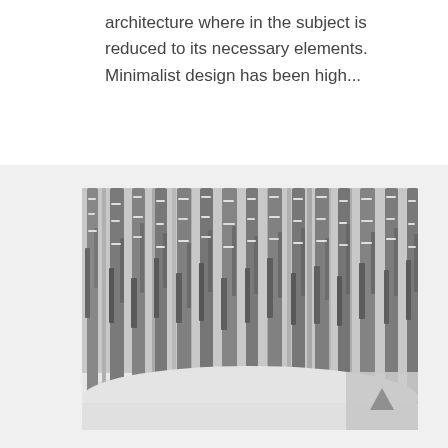architecture where in the subject is reduced to its necessary elements. Minimalist design has been high...
[Figure (photo): Black and white photograph of a dense birch tree forest in winter, with snow on the ground and tall vertical tree trunks filling the frame.]